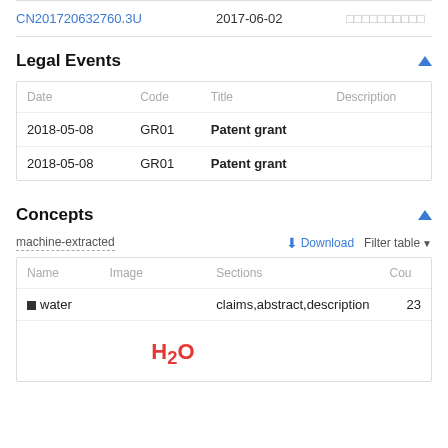|  |  |  |
| --- | --- | --- |
| CN201720632760.3U | 2017-06-02 | □□□□□□□□□□ |
Legal Events
| Date | Code | Title | Description |
| --- | --- | --- | --- |
| 2018-05-08 | GR01 | Patent grant |  |
| 2018-05-08 | GR01 | Patent grant |  |
Concepts
machine-extracted
| Name | Image | Sections | Cou |
| --- | --- | --- | --- |
| ■ water |  | claims,abstract,description | 23 |